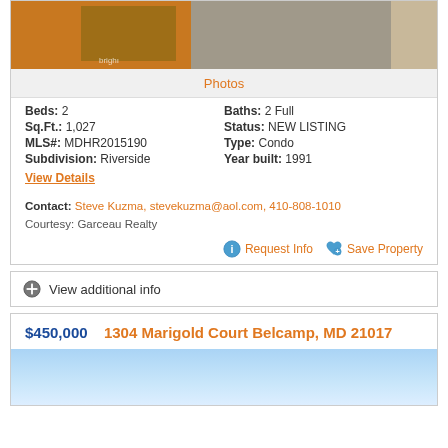[Figure (photo): Property photo showing room interior with orange wall and wooden panel]
Photos
Beds: 2    Baths: 2 Full
Sq.Ft.: 1,027    Status: NEW LISTING
MLS#: MDHR2015190    Type: Condo
Subdivision: Riverside    Year built: 1991
View Details
Contact: Steve Kuzma, stevekuzma@aol.com, 410-808-1010
Courtesy: Garceau Realty
Request Info    Save Property
View additional info
$450,000   1304 Marigold Court Belcamp, MD 21017
[Figure (photo): Property exterior photo with blue sky]